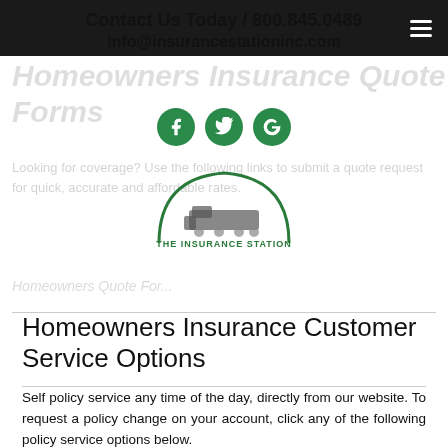Contact Us Today / 800.845.0489
info@insurancestationinc.com
[Figure (logo): The Insurance Station logo with train illustration and social media icons (Facebook, Twitter, Google)]
Homeowners Insurance Customer Service Options
Self policy service any time of the day, directly from our website. To request a policy change on your account, click any of the following policy service options below.
Personal Customer Service